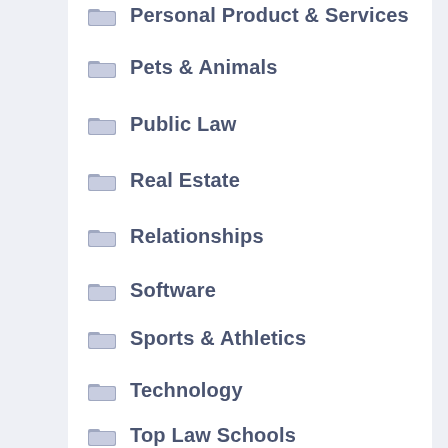Personal Product & Services
Pets & Animals
Public Law
Real Estate
Relationships
Software
Sports & Athletics
Technology
Top Law Schools
Top Law Schools In US
Travel
Types Of Lawyers
Web D...